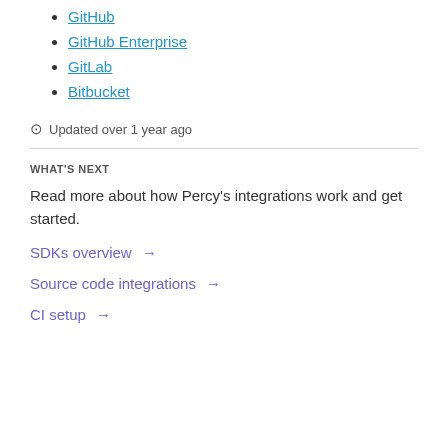GitHub
GitHub Enterprise
GitLab
Bitbucket
Updated over 1 year ago
WHAT'S NEXT
Read more about how Percy's integrations work and get started.
SDKs overview →
Source code integrations →
CI setup →